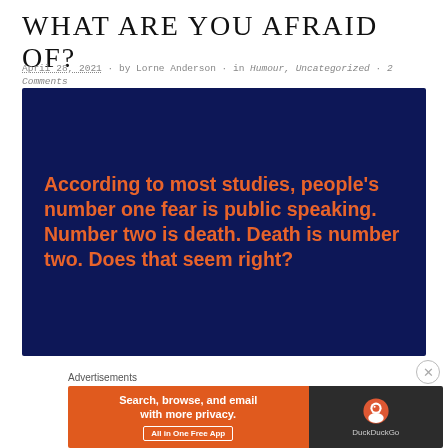WHAT ARE YOU AFRAID OF?
April 28, 2021 · by Lorne Anderson · in Humour, Uncategorized · 2 Comments
[Figure (infographic): Dark navy blue background with bold orange text reading: According to most studies, people's number one fear is public speaking. Number two is death. Death is number two. Does that seem right?]
Advertisements
[Figure (screenshot): DuckDuckGo advertisement banner: 'Search, browse, and email with more privacy. All in One Free App' with DuckDuckGo logo on dark right panel]